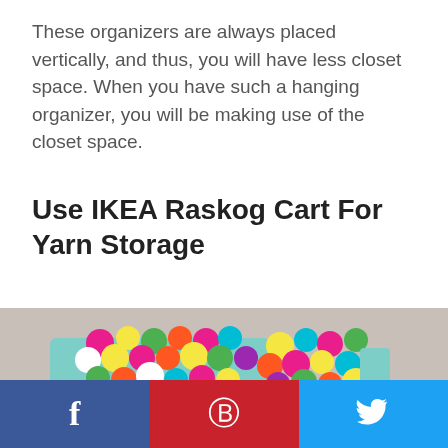These organizers are always placed vertically, and thus, you will have less closet space. When you have such a hanging organizer, you will be making use of the closet space.
Use IKEA Raskog Cart For Yarn Storage
[Figure (photo): A light blue IKEA Raskog cart filled with colorful balls of yarn in various colors including pink, yellow, green, teal, orange, and white, photographed against a light gray background.]
[Figure (infographic): Social media sharing bar with three buttons: Facebook (blue), Pinterest (red), and Twitter (light blue), each showing their respective icons.]